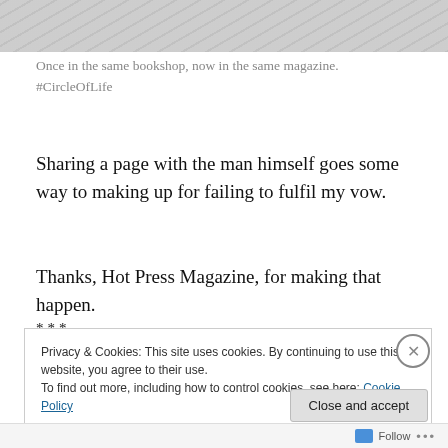[Figure (photo): Cropped newspaper/magazine page showing printed text columns at an angle]
Once in the same bookshop, now in the same magazine. #CircleOfLife
Sharing a page with the man himself goes some way to making up for failing to fulfil my vow.
Thanks, Hot Press Magazine, for making that happen.
***
[Figure (photo): Partial image of a person, mostly white/light tones, cropped]
Privacy & Cookies: This site uses cookies. By continuing to use this website, you agree to their use.
To find out more, including how to control cookies, see here: Cookie Policy
Close and accept